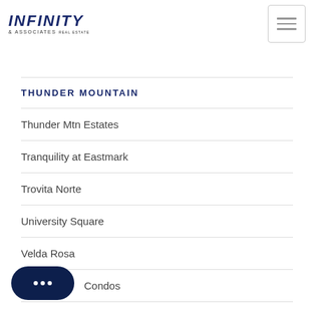[Figure (logo): Infinity & Associates Real Estate logo with bold italic navy text]
THUNDER MOUNTAIN
Thunder Mtn Estates
Tranquility at Eastmark
Trovita Norte
University Square
Velda Rosa
…Condos